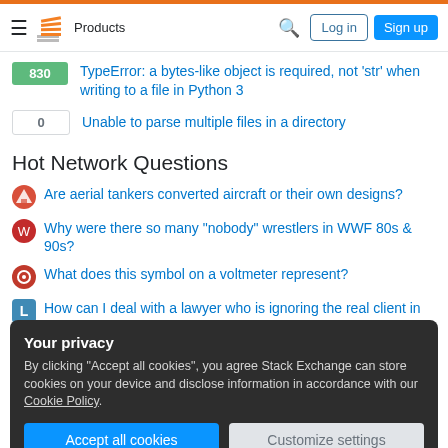Stack Overflow navigation bar with hamburger menu, logo, Products, search, Log in, Sign up
830 — TypeError: a bytes-like object is required, not 'str' when writing to a file in Python 3
0 — Unable to parse multiple files in a directory
Hot Network Questions
Are aerial tankers converted aircraft or their own designs?
Why were there so many "nobody" wrestlers in WWF 80s & 90s?
What does this symbol on a voltmeter represent?
How can I deal with a lawyer who is ignoring the real client in favor of the technical client?
Your privacy
By clicking "Accept all cookies", you agree Stack Exchange can store cookies on your device and disclose information in accordance with our Cookie Policy.
Accept all cookies   Customize settings
What is the point of Angel's curse, exactly?